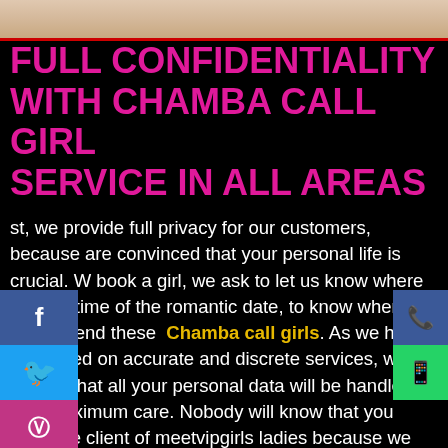[Figure (photo): Top portion of a person's face/head visible as a photo strip at top of page]
FULL CONFIDENTIALITY WITH CHAMBA CALL GIRL SERVICE IN ALL AREAS
st, we provide full privacy for our customers, because are convinced that your personal life is crucial. W book a girl, we ask to let us know where is the p time of the romantic date, to know where and wh end these Chamba call girls. As we have always ed on accurate and discrete services, we will ensure that all your personal data will be handled with maximum care. Nobody will know that you were the client of meetvipgirls ladies because we delete your personal information as soon as the girl returned to our office. In